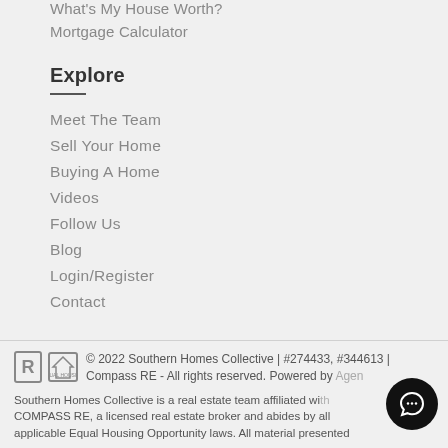What's My House Worth?
Mortgage Calculator
Explore
Meet The Team
Sell Your Home
Buying A Home
Videos
Follow Us
Blog
Login/Register
Contact
© 2022 Southern Homes Collective | #274433, #344613 | Compass RE - All rights reserved. Powered by Agent
Southern Homes Collective is a real estate team affiliated with COMPASS RE, a licensed real estate broker and abides by all applicable Equal Housing Opportunity laws. All material presented